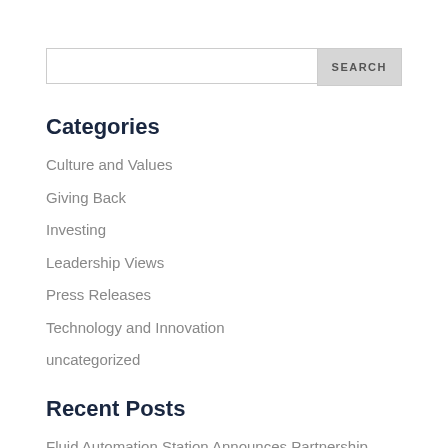[Figure (other): Search input box with SEARCH button]
Categories
Culture and Values
Giving Back
Investing
Leadership Views
Press Releases
Technology and Innovation
uncategorized
Recent Posts
Fluid Automation Station Announces Partnership